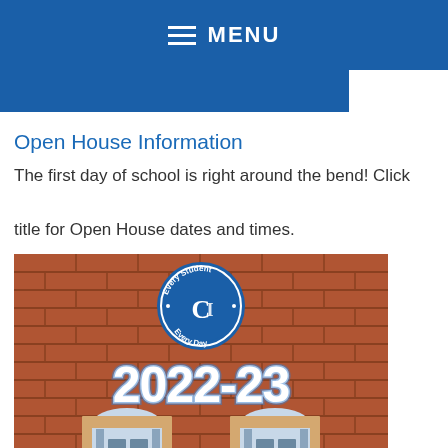MENU
Open House Information
The first day of school is right around the bend! Click title for Open House dates and times.
[Figure (photo): School building brick wall with a blue circular logo reading 'Every Student Every Day' and a stylized C/L monogram in the center, with '2022-23' displayed in large white text, and two arched doorways visible at the bottom.]